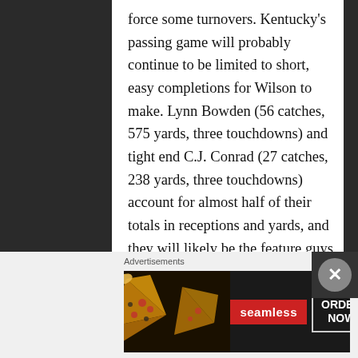force some turnovers. Kentucky's passing game will probably continue to be limited to short, easy completions for Wilson to make. Lynn Bowden (56 catches, 575 yards, three touchdowns) and tight end C.J. Conrad (27 catches, 238 yards, three touchdowns) account for almost half of their totals in receptions and yards, and they will likely be the feature guys in Kentucky's passing game again. Louisville has to
Advertisements
[Figure (other): Seamless food delivery advertisement banner showing pizza slices on the left, Seamless red logo in the center, and an ORDER NOW button on the right, all on a dark background.]